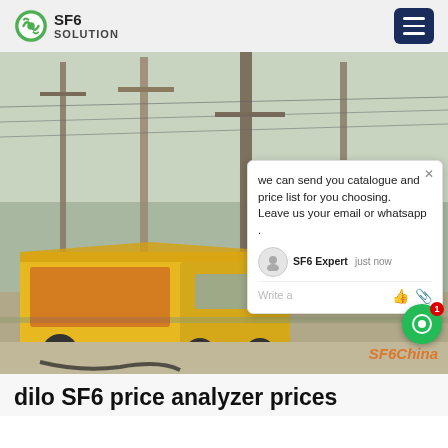SF6 SOLUTION
[Figure (photo): A yellow service truck parked at an electrical substation with large transformer equipment, power lines, and infrastructure in the background. A chat popup overlay is visible on the right side of the image with text: 'we can send you catalogue and price list for you choosing. Leave us your email or whatsapp .' along with SF6 Expert messaging interface. SF6China watermark in bottom right.]
dilo SF6 price analyzer prices